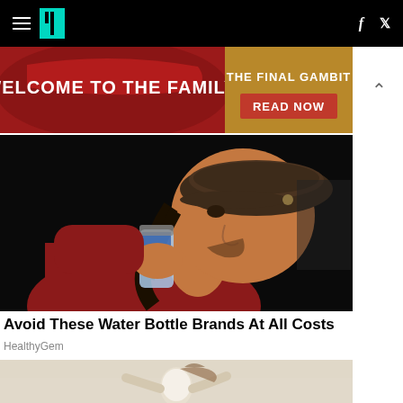HuffPost navigation bar with hamburger menu, logo, Facebook and Twitter icons
[Figure (photo): Advertisement banner: red decorative background with 'WELCOME TO THE FAMILY.' text on left, gold section on right reading 'THE FINAL GAMBIT / READ NOW']
[Figure (photo): Photo of a man with long dark hair wearing a brown flat cap and red jacket, drinking from a plastic water bottle against a dark background]
Avoid These Water Bottle Brands At All Costs
HealthyGem
[Figure (photo): Partial photo of a person jumping outdoors in bright sunlight, wearing a white top]